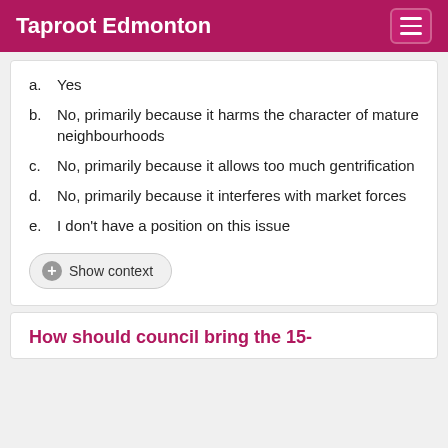Taproot Edmonton
a. Yes
b. No, primarily because it harms the character of mature neighbourhoods
c. No, primarily because it allows too much gentrification
d. No, primarily because it interferes with market forces
e. I don't have a position on this issue
+ Show context
How should council bring the 15-